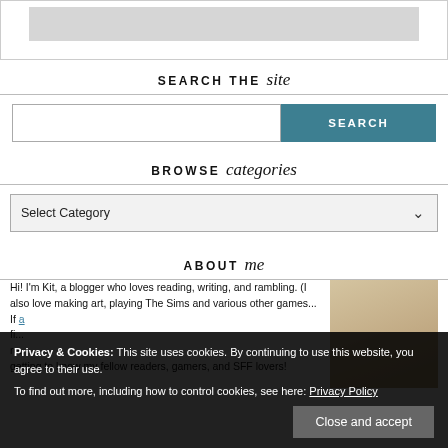[Figure (screenshot): Top banner image placeholder (gray rectangle)]
SEARCH THE site
[Figure (screenshot): Search bar with text input and SEARCH button]
BROWSE categories
[Figure (screenshot): Select Category dropdown]
ABOUT me
Hi! I'm Kit, a blogger who loves reading, writing, and rambling. (I also love making art, playing The Sims and various other games... If ... getting to know my fellow readers, gamers, and SFF lovers!
Privacy & Cookies: This site uses cookies. By continuing to use this website, you agree to their use. To find out more, including how to control cookies, see here: Privacy Policy